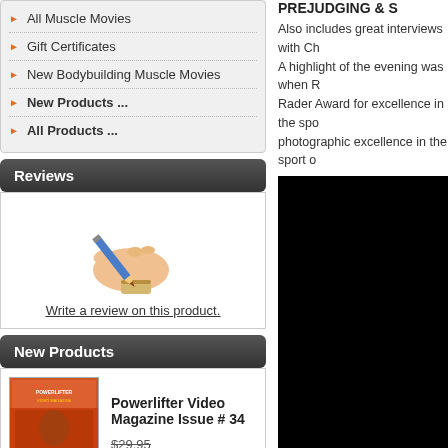All Muscle Movies
Gift Certificates
New Bodybuilding Muscle Movies
New Products ...
All Products ...
Reviews
[Figure (illustration): Hand holding a pencil/pen, cartoon style illustration]
Write a review on this product.
New Products
[Figure (photo): Powerlifter Video Magazine Issue #34 cover - orange/red colored magazine cover with #34 label]
Powerlifter Video Magazine Issue # 34
$29.95
Sale: $20.95
PREJUDGING & S
Also includes great interviews with Ch A highlight of the evening was when R Rader Award for excellence in the spo photographic excellence in the sport o
[Figure (photo): Large black rectangle - image not visible/loaded]
2002 Iron Man Pro Invitational Resu February 16, 2002, Los Angeles, CA 1 Chris Cormier, USA